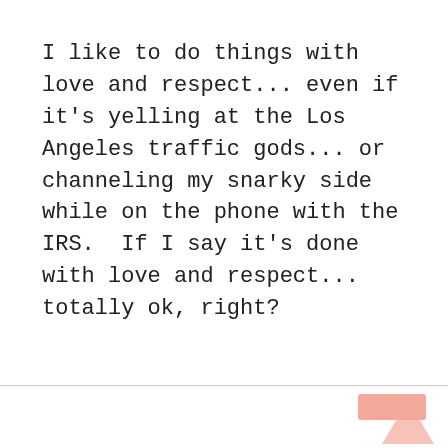I like to do things with love and respect... even if it's yelling at the Los Angeles traffic gods... or channeling my snarky side while on the phone with the IRS.  If I say it's done with love and respect... totally ok, right?